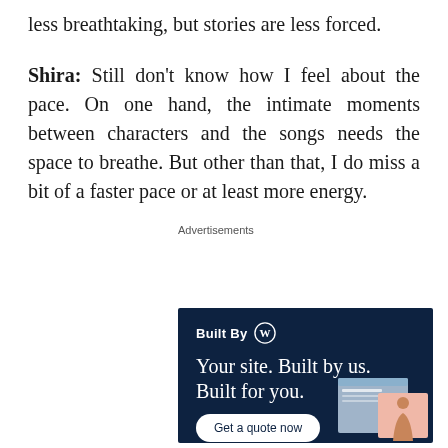less breathtaking, but stories are less forced.
Shira: Still don't know how I feel about the pace. On one hand, the intimate moments between characters and the songs needs the space to breathe. But other than that, I do miss a bit of a faster pace or at least more energy.
Advertisements
[Figure (other): WordPress 'Built By WP' advertisement banner with dark navy background. Shows 'Built By' with WordPress logo, headline 'Your site. Built by us. Built for you.', a 'Get a quote now' button, and a mockup of a website with a person figure on the right side.]